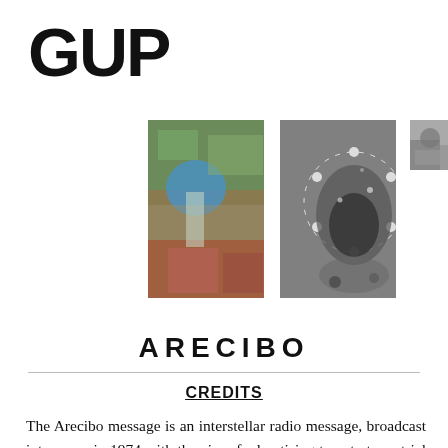GUP
[Figure (photo): Three photos in a row: first is a colorful abstract/aerial composite image with green, blue and rust tones; second is a black and white image of a circular dotted ring pattern (possibly astronomical or microscopic); third is a partially visible grayscale photo cropped at the right edge.]
ARECIBO
CREDITS
The Arecibo message is an interstellar radio message, broadcast into space in 1974 with the aim of advertising to extraterrestrial life. The